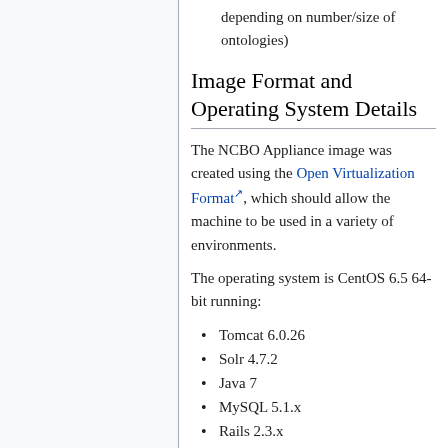depending on number/size of ontologies)
Image Format and Operating System Details
The NCBO Appliance image was created using the Open Virtualization Format, which should allow the machine to be used in a variety of environments.
The operating system is CentOS 6.5 64-bit running:
Tomcat 6.0.26
Solr 4.7.2
Java 7
MySQL 5.1.x
Rails 2.3.x
Ruby 2.0.0p353
memcached